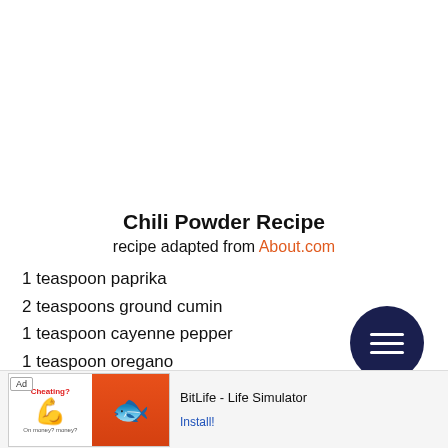Chili Powder Recipe
recipe adapted from About.com
1 teaspoon paprika
2 teaspoons ground cumin
1 teaspoon cayenne pepper
1 teaspoon oregano
2 teaspoons garlic powder
Combine all ingredients; store in an airtight container.
[Figure (other): Dark navy circular menu button with three horizontal white lines]
[Figure (other): Advertisement banner for BitLife - Life Simulator app with install button]